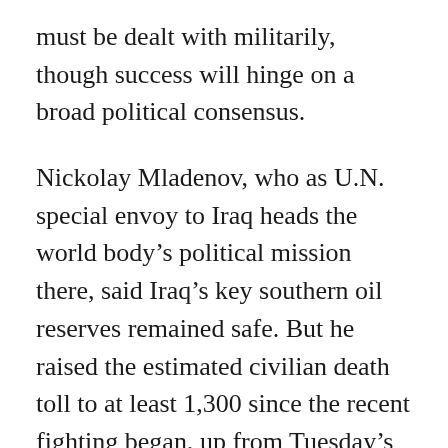must be dealt with militarily, though success will hinge on a broad political consensus.
Nickolay Mladenov, who as U.N. special envoy to Iraq heads the world body's political mission there, said Iraq's key southern oil reserves remained safe. But he raised the estimated civilian death toll to at least 1,300 since the recent fighting began, up from Tuesday's estimate of more than 1,000.
His remarks came as hardline Sunni militants attacked one of Iraq's largest air bases.
“The part of the crisis that has been caused by the advances of ISIL (Islamic State in Iraq and the Levant) must be dealt with militarily,” Mladenov told reporters